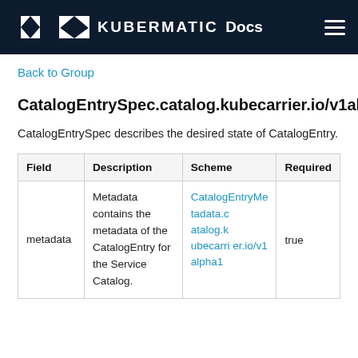KUBERMATIC Docs
Back to Group
CatalogEntrySpec.catalog.kubecarrier.io/v1alpha1
CatalogEntrySpec describes the desired state of CatalogEntry.
| Field | Description | Scheme | Required |
| --- | --- | --- | --- |
| metadata | Metadata contains the metadata of the CatalogEntry for the Service Catalog. | CatalogEntryMetadata.catalog.kubecarrier.io/v1alpha1 | true |